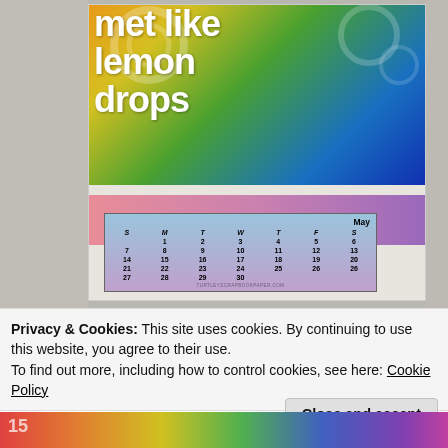[Figure (photo): A decorative craft card/scrapbook page with colorful rainbow background featuring large stylized text reading 'met like lemon drops' in white chunky letters, with a small May calendar embedded at the bottom of the card. The surrounding area shows textured grey wall surface.]
Privacy & Cookies: This site uses cookies. By continuing to use this website, you agree to their use.
To find out more, including how to control cookies, see here: Cookie Policy
Close and accept